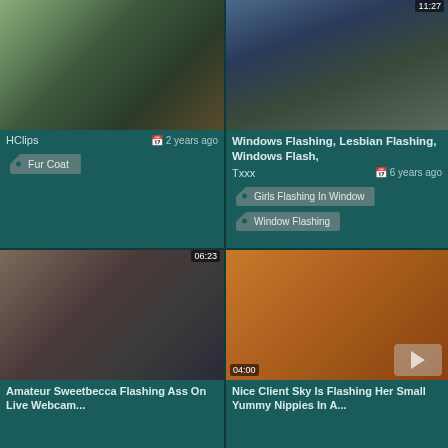[Figure (screenshot): Video thumbnail top-left: fur coat scene, dark/greenish tones]
HClips
2 years ago
Fur Coat
[Figure (screenshot): Video thumbnail top-right: window flashing scene, duration 11:27]
Windows Flashing, Lesbian Flashing, Windows Flash,
Txxx
6 years ago
Girls Flashing In Window
Window Flashing
[Figure (screenshot): Video thumbnail bottom-left: duration 06:23]
Amateur Sweetbecca Flashing Ass On Live Webcam...
[Figure (screenshot): Video thumbnail bottom-right: blonde woman, duration 04:00]
Nice Client Sky Is Flashing Her Small Yummy Nippies In A...